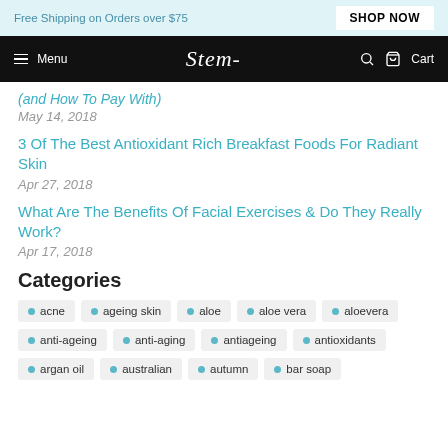Free Shipping on Orders over $75
SHOP NOW
Menu | Stem | Cart
(and How To Pay With)
May 14, 2018
3 Of The Best Antioxidant Rich Breakfast Foods For Radiant Skin
Apr 27, 2018
What Are The Benefits Of Facial Exercises & Do They Really Work?
Apr 17, 2018
Categories
acne
ageing skin
aloe
aloe vera
aloevera
anti-ageing
anti-aging
antiageing
antioxidants
argan oil
australian
autumn
bar soap